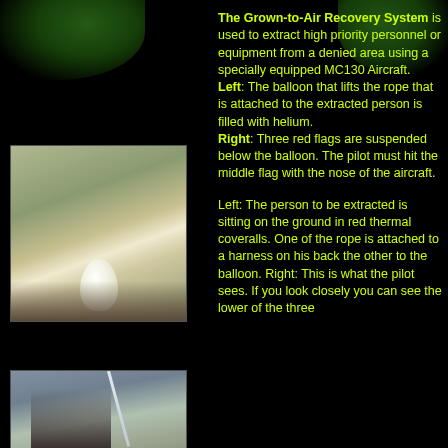[Figure (photo): Photograph showing people in a field with a white helium balloon being inflated or rising]
[Figure (photo): Photograph showing people on the ground with a rope or line extending upward, related to the Ground-to-Air Recovery System]
The Grown-to-Air Recovery System is used to extract high priority personnel or equipment from a denied area using a specially equipped MC130 Aircraft. Left: The balloon that lifts the rope that is attached to the extracted person is filled with helium. Right: Three red flags are suspended below the balloon. The pilot must hit the middle flag with the nose of the aircraft. Left: The person to be extracted is sitting on the ground in red thermal coveralls. One of the rope is attached to a harness on his back the other to the balloon. Right: This is what the pilot sees. If you look closely you can see the lower of the three